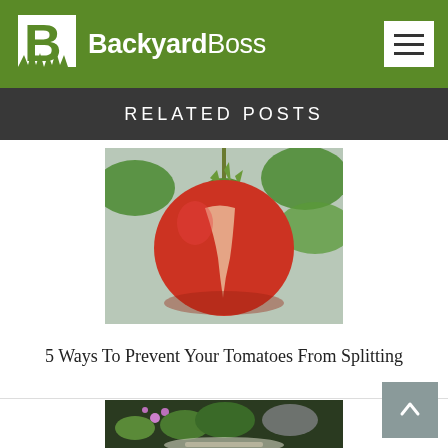BackyardBoss
RELATED POSTS
[Figure (photo): A red tomato with a split/crack on its surface, hanging on a vine with green leaves in the background]
5 Ways To Prevent Your Tomatoes From Splitting
[Figure (photo): A garden scene with colorful plants, dark soil, and what appears to be a garden tool, partial view]